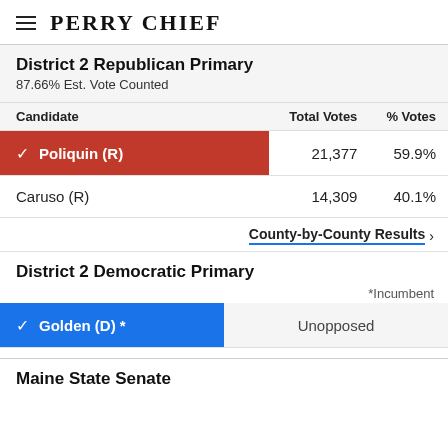PERRY CHIEF
District 2 Republican Primary
87.66% Est. Vote Counted
| Candidate | Total Votes | % Votes |
| --- | --- | --- |
| ✓ Poliquin (R) | 21,377 | 59.9% |
| Caruso (R) | 14,309 | 40.1% |
County-by-County Results ›
District 2 Democratic Primary
*Incumbent
| Candidate |  |
| --- | --- |
| ✓ Golden (D) * | Unopposed |
Maine State Senate